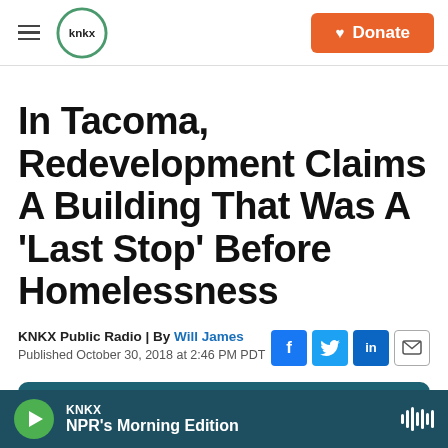KNKX | Donate
In Tacoma, Redevelopment Claims A Building That Was A 'Last Stop' Before Homelessness
KNKX Public Radio | By Will James
Published October 30, 2018 at 2:46 PM PDT
LISTEN • 7:38
KNKX
NPR's Morning Edition